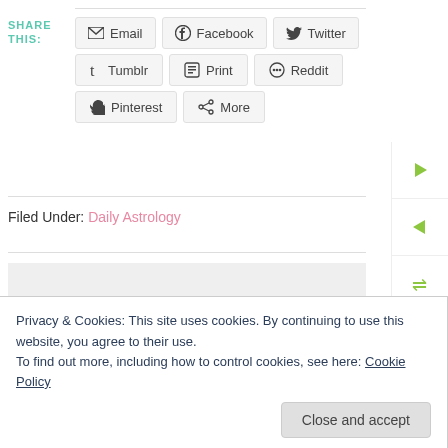SHARE THIS:
Email | Facebook | Twitter | Tumblr | Print | Reddit | Pinterest | More
Filed Under: Daily Astrology
Privacy & Cookies: This site uses cookies. By continuing to use this website, you agree to their use.
To find out more, including how to control cookies, see here: Cookie Policy
Close and accept
Leave a Reply